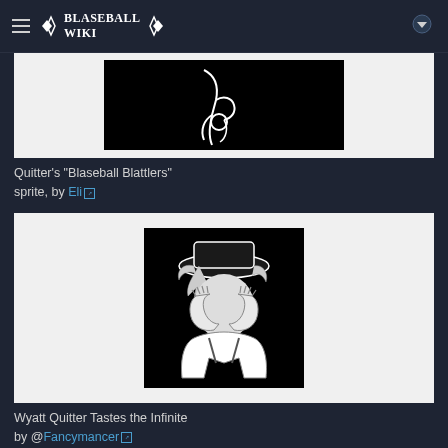BLASEBALL WIKI
[Figure (illustration): Quitter's Blaseball Blattlers sprite illustration on black background, partially visible]
Quitter's "Blaseball Blattlers" sprite, by Eli
[Figure (illustration): Wyatt Quitter Tastes the Infinite - black and white illustration of a figure covering their face with hands, wearing a hat]
Wyatt Quitter Tastes the Infinite by @Fancymancer
[Figure (illustration): Third illustration, partially visible at bottom of page]